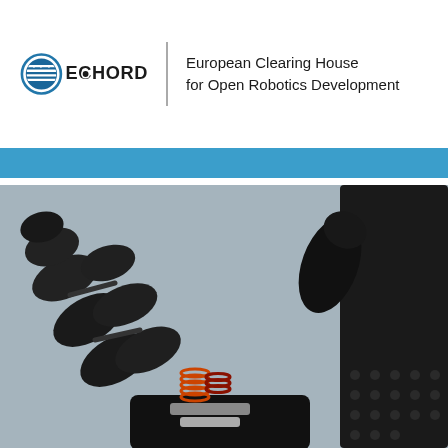[Figure (logo): ECHORD logo with blue circular emblem containing stars and stripes motif, text 'ECHORD' in bold black letters, followed by a vertical divider and the text 'European Clearing House for Open Robotics Development']
[Figure (photo): Close-up photograph of a black robotic hand/gripper with segmented finger joints, visible coil springs and mechanical components, mounted on a perforated base plate, shot against a grey background]